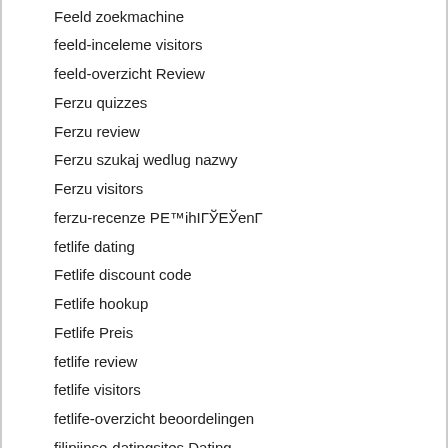Feeld zoekmachine
feeld-inceleme visitors
feeld-overzicht Review
Ferzu quizzes
Ferzu review
Ferzu szukaj wedlug nazwy
Ferzu visitors
ferzu-recenze PE™ihIГЎЕЎenГ
fetlife dating
Fetlife discount code
Fetlife hookup
Fetlife Preis
fetlife review
fetlife visitors
fetlife-overzicht beoordelingen
filipijnse-datingsites Dating
filipino cupid avis
Filipino Cupid meetic
filipino cupid pl review